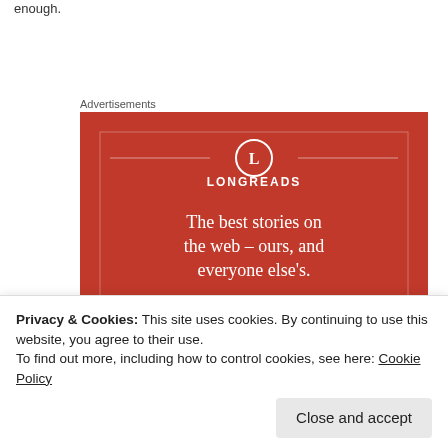enough.
Advertisements
[Figure (illustration): Longreads advertisement banner on a red background. Features the Longreads logo (L in a circle) and text: 'The best stories on the web – ours, and everyone else's.' with a black 'Start reading' button.]
Privacy & Cookies: This site uses cookies. By continuing to use this website, you agree to their use.
To find out more, including how to control cookies, see here: Cookie Policy
Close and accept